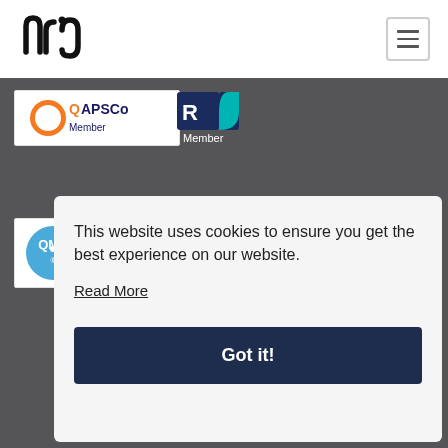[Figure (logo): NRG logo in black on white header bar]
[Figure (logo): APSCo logo with orange circle and dark blue text on white badge]
[Figure (logo): REC Member logo with teal graphic and dark navy text on dark background]
[Figure (logo): QMS ISO 9001:2015 Registered badge with blue circle]
[Figure (logo): Galago logo with magenta circle G and dark text]
This website uses cookies to ensure you get the best experience on our website.
Read More
Got it!